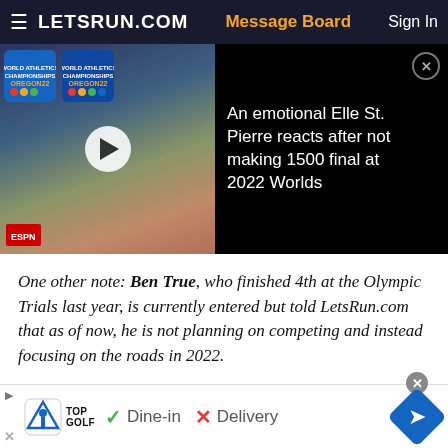LETSRUN.COM   Message Board   Sign In
[Figure (screenshot): Video thumbnail showing athlete at World Athletics Championships Oregon22, with play button overlay. Right side shows article headline on black background.]
An emotional Elle St. Pierre reacts after not making 1500 final at 2022 Worlds
One other note: Ben True, who finished 4th at the Olympic Trials last year, is currently entered but told LetsRun.com that as of now, he is not planning on competing and instead focusing on the roads in 2022.
| Name | Affiliation | Mark | Status | Declaration |
| --- | --- | --- | --- | --- |
| Grant | NIKE / | 26:33.84 | qualified | declared |
[Figure (infographic): Advertisement bar for TopGolf showing logo, Dine-in with checkmark, Delivery with X mark, and navigation arrow icon.]